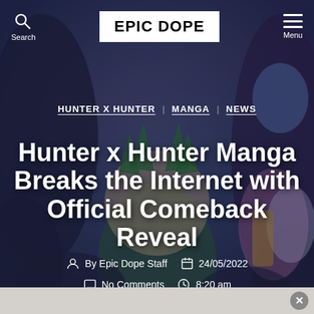[Figure (screenshot): Epic Dope website header showing the Hunter x Hunter Manga comeback article. Background features anime characters from Hunter x Hunter including Gon in green outfit. Page header shows search icon, Epic Dope logo in black and white box, and menu icon.]
Search  EPIC DOPE  Menu
HUNTER X HUNTER  MANGA  NEWS
Hunter x Hunter Manga Breaks the Internet with Official Comeback Reveal
By Epic Dope Staff  24/05/2022
No Comments  8:20 am